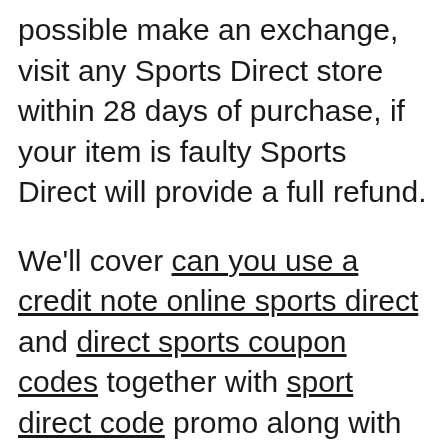possible make an exchange, visit any Sports Direct store within 28 days of purchase, if your item is faulty Sports Direct will provide a full refund.
We'll cover can you use a credit note online sports direct and direct sports coupon codes together with sport direct code promo along with sports direct new user discount with sports